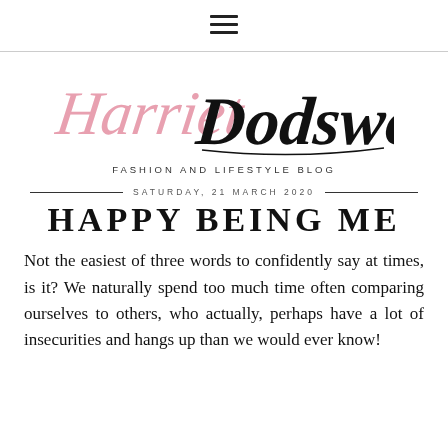≡ (hamburger menu icon)
[Figure (logo): Harriet Dodsworth cursive signature logo in pink and black]
FASHION AND LIFESTYLE BLOG
SATURDAY, 21 MARCH 2020
HAPPY BEING ME
Not the easiest of three words to confidently say at times, is it? We naturally spend too much time often comparing ourselves to others, who actually, perhaps have a lot of insecurities and hangs up than we would ever know!